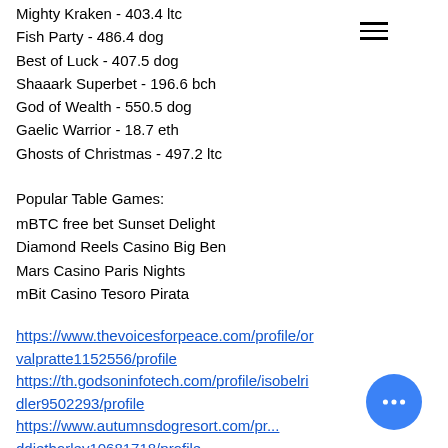Mighty Kraken - 403.4 ltc
Fish Party - 486.4 dog
Best of Luck - 407.5 dog
Shaaark Superbet - 196.6 bch
God of Wealth - 550.5 dog
Gaelic Warrior - 18.7 eth
Ghosts of Christmas - 497.2 ltc
Popular Table Games:
mBTC free bet Sunset Delight
Diamond Reels Casino Big Ben
Mars Casino Paris Nights
mBit Casino Tesoro Pirata
https://www.thevoicesforpeace.com/profile/orvalpratte1152556/profile
https://th.godsoninfotech.com/profile/isobelridler9502293/profile
https://www.autumnsdogresort.com/profile/addiethorley10681718/profile
https://www.steenssyrup.com/profile/clintonfа...